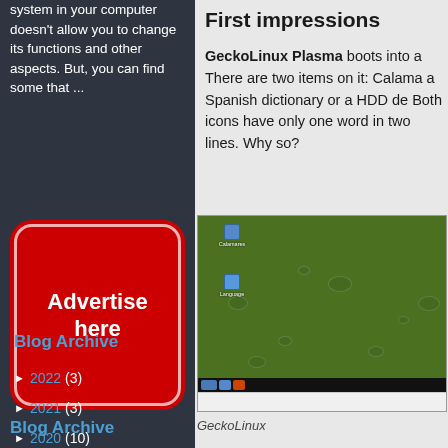system in your computer doesn't allow you to change its functions and other aspects. But, you can find some that ...
[Figure (other): Red advertisement box with rounded corners and white border, text 'Advertise here']
Blog Archive
► 2022 (3)
► 2021 (3)
► 2020 (10)
First impressions
GeckoLinux Plasma boots into a There are two items on it: Calama a Spanish dictionary or a HDD de Both icons have only one word in two lines. Why so?
[Figure (screenshot): GeckoLinux Plasma desktop screenshot showing a green wallpaper with water droplets, two desktop icons (Calamares and Language), and a taskbar at the bottom]
GeckoLinux